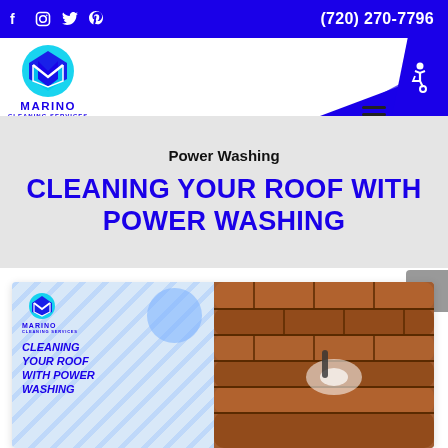f  Instagram  Twitter  Pinterest    (720) 270-7796
[Figure (logo): Marino Cleaning Services logo with circular cyan/blue emblem and blue text]
Power Washing
CLEANING YOUR ROOF WITH POWER WASHING
[Figure (illustration): Promotional card with Marino Cleaning Services logo on blue-striped background (left) and photo of roof tiles being power washed (right). Card text: CLEANING YOUR ROOF WITH POWER WASHING]